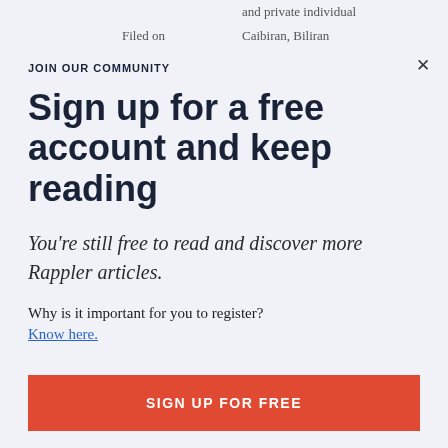and private individual
Filed on
Jun 4, 1997
Caibiran, Biliran
JOIN OUR COMMUNITY
Sign up for a free account and keep reading
You're still free to read and discover more Rappler articles.
Why is it important for you to register?
Know here.
SIGN UP FOR FREE
I'LL DO IT LATER